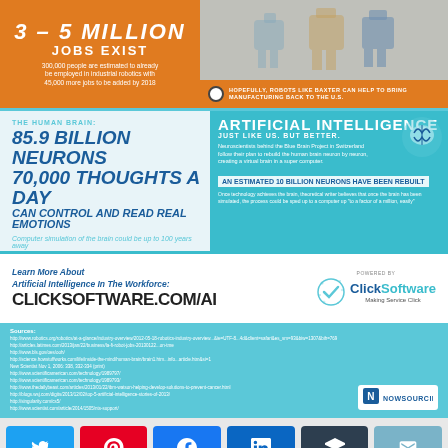[Figure (infographic): Top section infographic showing '3-5 MILLION JOBS EXIST' on orange background with robot imagery on right side with banner text 'HOPEFULLY, ROBOTS LIKE BAXTER CAN HELP TO BRING MANUFACTURING BACK TO THE U.S.']
[Figure (infographic): Middle left: The Human Brain stats - 85.9 BILLION NEURONS, 70,000 THOUGHTS A DAY, CAN CONTROL AND READ REAL EMOTIONS. Middle right: Artificial Intelligence - Just Like Us, But Better. AN ESTIMATED 10 BILLION NEURONS HAVE BEEN REBUILT with brain icon and teal background.]
Learn more about Artificial Intelligence in the Workforce: ClickSoftware.com/AI — POWERED BY ClickSoftware Making Service Click
Sources: http://www.robotics.org/robotics/at-a-glance/... (multiple URLs listed)
[Figure (logo): NowSourcing logo in white box, bottom right of sources section]
[Figure (infographic): Social share bar with Twitter, Pinterest, Facebook, LinkedIn, Buffer, and Email buttons]